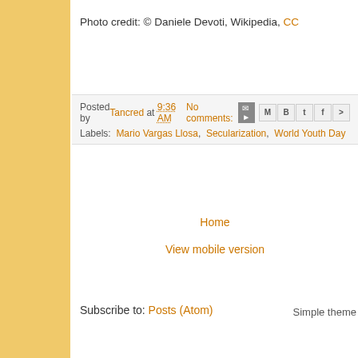Photo credit: © Daniele Devoti, Wikipedia, CC
Posted by Tancred at 9:36 AM   No comments:
Labels: Mario Vargas Llosa, Secularization, World Youth Day
Home
View mobile version
Subscribe to: Posts (Atom)
Simple theme